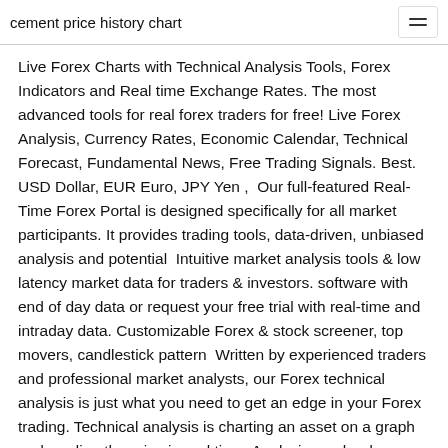cement price history chart
Live Forex Charts with Technical Analysis Tools, Forex Indicators and Real time Exchange Rates. The most advanced tools for real forex traders for free! Live Forex Analysis, Currency Rates, Economic Calendar, Technical Forecast, Fundamental News, Free Trading Signals. Best. USD Dollar, EUR Euro, JPY Yen ,  Our full-featured Real-Time Forex Portal is designed specifically for all market participants. It provides trading tools, data-driven, unbiased analysis and potential  Intuitive market analysis tools & low latency market data for traders & investors. software with end of day data or request your free trial with real-time and intraday data. Customizable Forex & stock screener, top movers, candlestick pattern  Written by experienced traders and professional market analysts, our Forex technical analysis is just what you need to get an edge in your Forex trading. Technical analysis is charting an asset on a graph and reading the price in real time. Analysis can be done through price action or through using indicators that  07:04:20(GMT)|Real-Time Data,